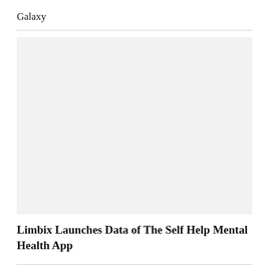Galaxy
[Figure (photo): Large light gray rectangular image placeholder]
Limbix Launches Data of The Self Help Mental Health App